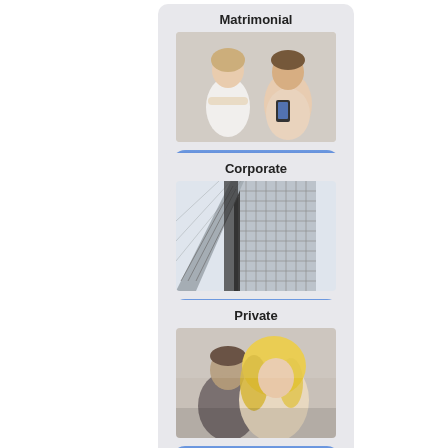[Figure (infographic): Card with title 'Matrimonial', photo of a couple (woman looking away, man on phone), and a blue 'Click here »' button]
[Figure (infographic): Card with title 'Corporate', photo of tall office buildings from below, and a blue 'Click here »' button]
[Figure (infographic): Card with title 'Private', photo of a couple back to back (blonde woman in foreground, man behind), and a blue 'Click here »' button]